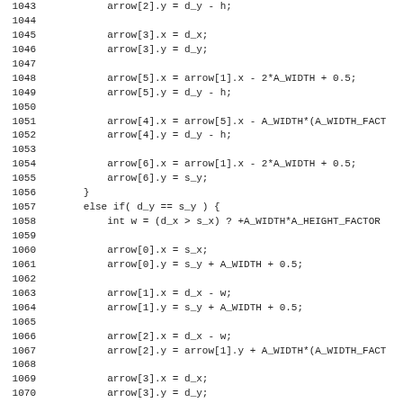Code listing lines 1043-1075 showing arrow coordinate assignments in C/C++